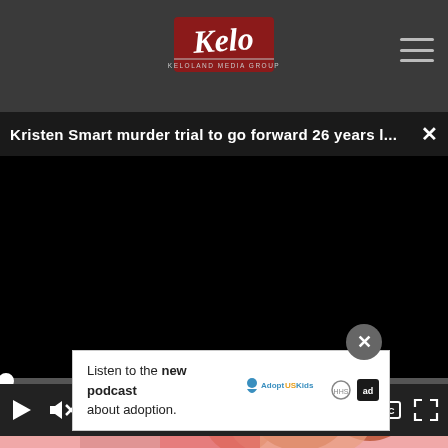[Figure (logo): KELOLAND Media Group logo in red and white on dark grey header bar]
Kristen Smart murder trial to go forward 26 years l...
[Figure (screenshot): Black video player area, paused at 00:00, with play button, mute button, time display 00:00, captions and fullscreen buttons. Progress bar at top with white dot at start.]
[Figure (photo): Partial photo behind ad of person with curly red hair on pink background]
Listen to the new podcast about adoption.